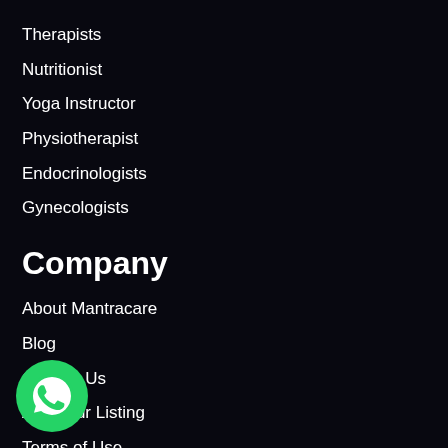Therapists
Nutritionist
Yoga Instructor
Physiotherapist
Endocrinologists
Gynecologists
Company
About Mantracare
Blog
Contact Us
Add Your Listing
Terms of Use
Provider Terms
[Figure (logo): WhatsApp floating button icon — green circle with white phone/chat handset logo]